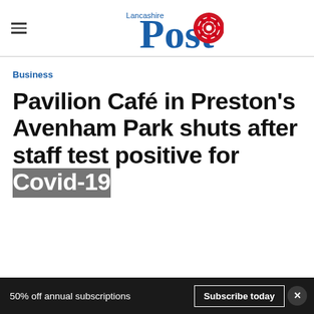Lancashire Post
Business
Pavilion Café in Preston's Avenham Park shuts after staff test positive for Covid-19
50% off annual subscriptions  Subscribe today